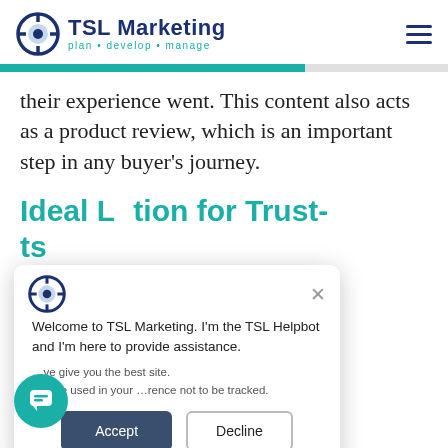TSL Marketing — plan · develop · manage
their experience went. This content also acts as a product review, which is an important step in any buyer's journey.
Ideal Location for Trust-...ts
[Figure (screenshot): Chat popup overlay with TSL Helpbot welcome message and Accept/Decline cookie consent buttons]
Welcome to TSL Marketing. I'm the TSL Helpbot and I'm here to provide assistance.
...ve give you the best site.
...ill be used in your ...rence not to be tracked.
Accept | Decline